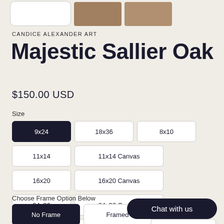[Figure (photo): Three thumbnail images at top: white placeholder thumbnail with rounded border, and two photos of an oak tree artwork.]
CANDICE ALEXANDER ART
Majestic Sallier Oak
$150.00 USD
Size
9x24 (selected)
18x36
8x10
11x14
11x14 Canvas
16x20
16x20 Canvas
24x36
24x36 Canvas
18x36 ORIGINAL Watercolor/Pen and Ink
Choose Frame Option Below
No Frame (selected)
Framed
Chat with us